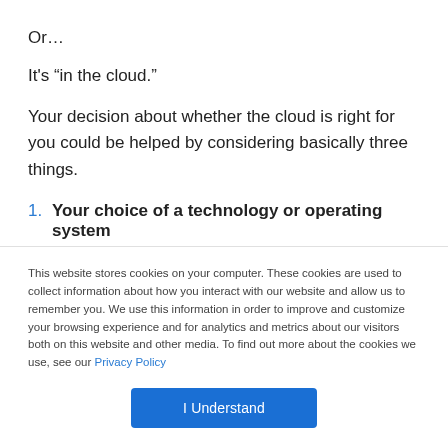Or…
It’s “in the cloud.”
Your decision about whether the cloud is right for you could be helped by considering basically three things.
1. Your choice of a technology or operating system
This website stores cookies on your computer. These cookies are used to collect information about how you interact with our website and allow us to remember you. We use this information in order to improve and customize your browsing experience and for analytics and metrics about our visitors both on this website and other media. To find out more about the cookies we use, see our Privacy Policy
I Understand